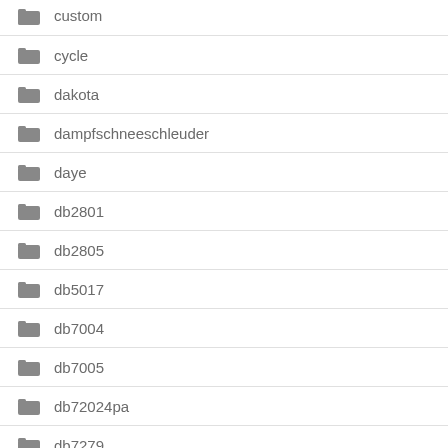custom
cycle
dakota
dampfschneeschleuder
daye
db2801
db2805
db5017
db7004
db7005
db72024pa
db7279
db7622e